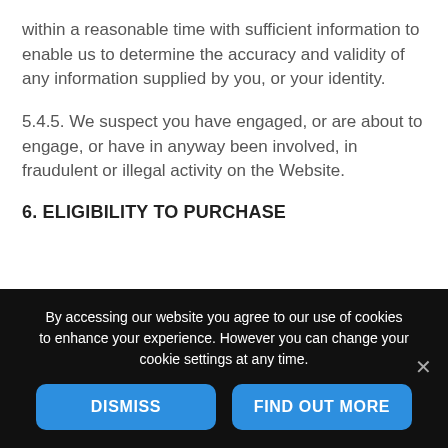within a reasonable time with sufficient information to enable us to determine the accuracy and validity of any information supplied by you, or your identity.
5.4.5. We suspect you have engaged, or are about to engage, or have in anyway been involved, in fraudulent or illegal activity on the Website.
6. ELIGIBILITY TO PURCHASE
By accessing our website you agree to our use of cookies to enhance your experience. However you can change your cookie settings at any time.
DISMISS
FIND OUT MORE